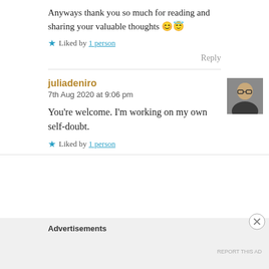Anyways thank you so much for reading and sharing your valuable thoughts 😊😇
★ Liked by 1 person
Reply
juliadeniro
7th Aug 2020 at 9:06 pm
[Figure (photo): Small avatar photo of user juliadeniro, a person with glasses]
You're welcome. I'm working on my own self-doubt.
★ Liked by 1 person
Advertisements
REPORT THIS AD